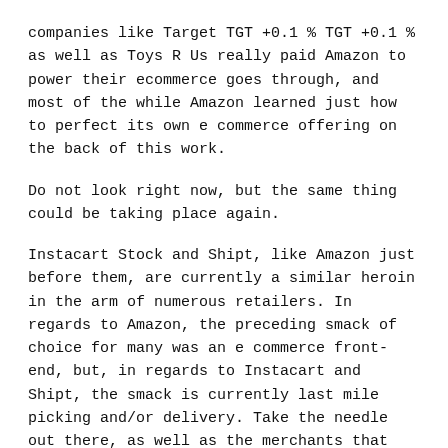companies like Target TGT +0.1 % TGT +0.1 % as well as Toys R Us really paid Amazon to power their ecommerce goes through, and most of the while Amazon learned just how to perfect its own e commerce offering on the back of this work.
Do not look right now, but the same thing could be taking place again.
Instacart Stock and Shipt, like Amazon just before them, are currently a similar heroin in the arm of numerous retailers. In regards to Amazon, the preceding smack of choice for many was an e commerce front-end, but, in regards to Instacart and Shipt, the smack is currently last mile picking and/or delivery. Take the needle out there, as well as the merchants that rely on Shipt and Instacart for shipping will be compelled to figure almost